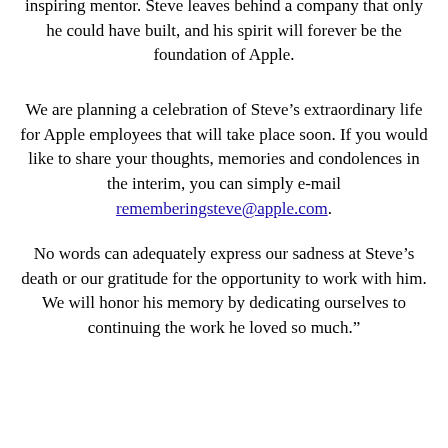inspiring mentor. Steve leaves behind a company that only he could have built, and his spirit will forever be the foundation of Apple.
We are planning a celebration of Steve's extraordinary life for Apple employees that will take place soon. If you would like to share your thoughts, memories and condolences in the interim, you can simply e-mail rememberingsteve@apple.com.
No words can adequately express our sadness at Steve's death or our gratitude for the opportunity to work with him. We will honor his memory by dedicating ourselves to continuing the work he loved so much."